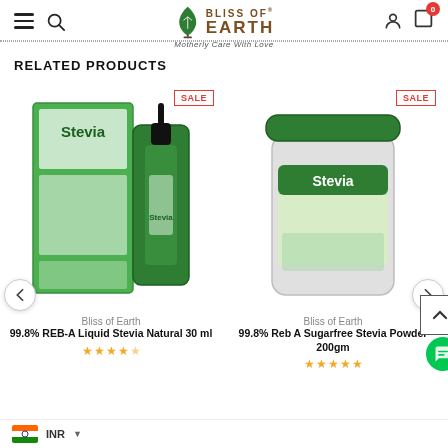[Figure (screenshot): Bliss of Earth website header with hamburger menu, search icon, logo with maple leaf and text 'BLISS OF EARTH Motherly Care With Love', user icon, and cart icon with badge showing 0]
RELATED PRODUCTS
[Figure (photo): Bliss of Earth 99.8% REB-A Liquid Stevia Natural 30 ml product image showing box and dropper bottle]
Bliss of Earth
99.8% REB-A Liquid Stevia Natural 30 ml
[Figure (photo): Bliss of Earth 99.8% Reb A Sugarfree Stevia Powder 200gm product image showing a jar/bottle]
Bliss of Earth
99.8% Reb A Sugarfree Stevia Powder 200gm